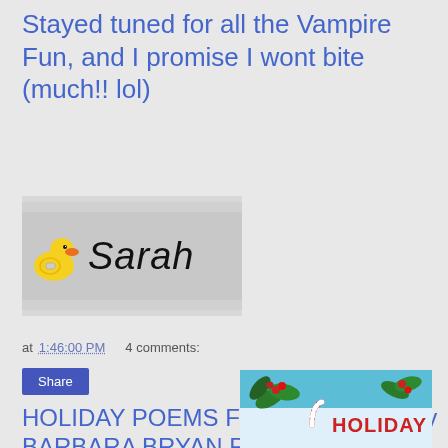Stayed tuned for all the Vampire Fun, and I promise I wont bite (much!! lol)
[Figure (illustration): Signature image showing a yellow rubber duck on the left and handwritten-style text 'Sarah' on the right, on a grey background]
at 1:46:00 PM    4 comments:
Share
HOLIDAY POEMS FOR CHILDREN by BARBARA BRYAN REVIEW
[Figure (illustration): Partial cover image of a holiday book showing Christmas decorations including holly, berries, candy cane and the word HOLIDAY in red text on a blue/snowy background]